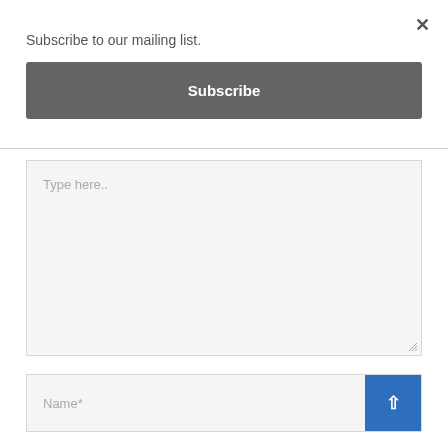×
Subscribe to our mailing list.
Subscribe
[Figure (screenshot): A textarea input field with placeholder text 'Type here..' and a resize handle in the bottom-right corner, with a light gray background.]
Name*